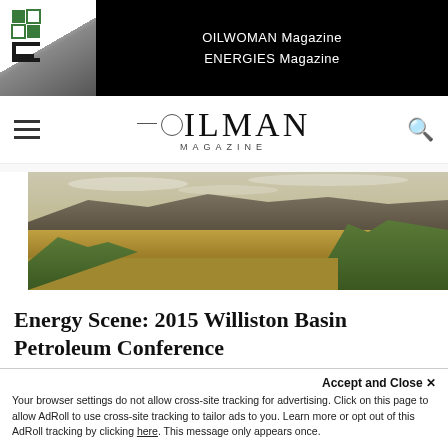OILMAN Magazine
ENERGIES Magazine
OILMAN MAGAZINE
[Figure (photo): Panoramic landscape photo showing a wide valley with mesas/badlands in the background, scrubland plains in the middle, and green trees in the foreground under a cloudy sky.]
Energy Scene: 2015 Williston Basin Petroleum Conference
Accept and Close ✕
Your browser settings do not allow cross-site tracking for advertising. Click on this page to allow AdRoll to use cross-site tracking to tailor ads to you. Learn more or opt out of this AdRoll tracking by clicking here. This message only appears once.